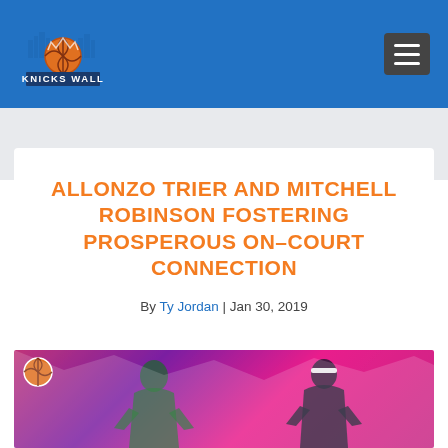Knicks Wall
ALLONZO TRIER AND MITCHELL ROBINSON FOSTERING PROSPEROUS ON-COURT CONNECTION
By Ty Jordan | Jan 30, 2019
[Figure (photo): Banner image showing two basketball players (Allonzo Trier and Mitchell Robinson) against a purple/pink textured background with a small Knicks Wall basketball logo in the top-left corner]